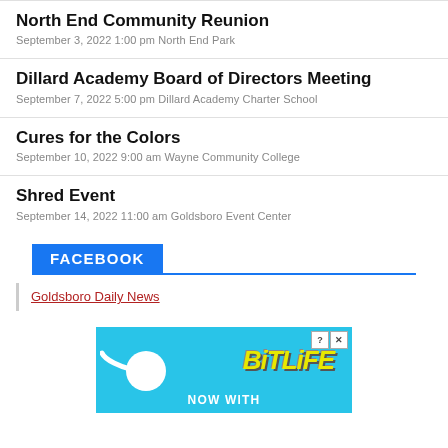North End Community Reunion
September 3, 2022 1:00 pm North End Park
Dillard Academy Board of Directors Meeting
September 7, 2022 5:00 pm Dillard Academy Charter School
Cures for the Colors
September 10, 2022 9:00 am Wayne Community College
Shred Event
September 14, 2022 11:00 am Goldsboro Event Center
FACEBOOK
Goldsboro Daily News
[Figure (photo): BitLife advertisement banner with cyan background showing sperm graphic and BitLife logo in yellow, with NOW WITH text at bottom]